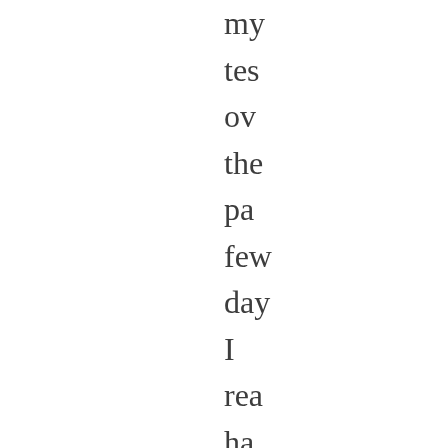my tes ove the pas few day I rea hav not mu of an im anc oft 5G wa